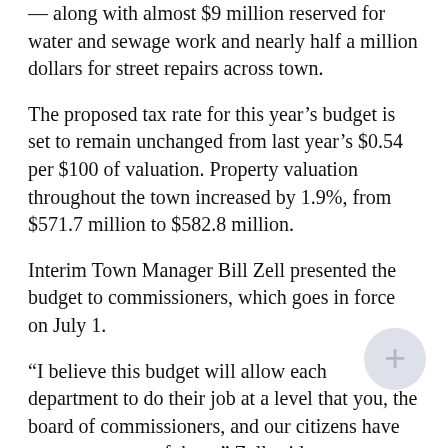— along with almost $9 million reserved for water and sewage work and nearly half a million dollars for street repairs across town.
The proposed tax rate for this year's budget is set to remain unchanged from last year's $0.54 per $100 of valuation. Property valuation throughout the town increased by 1.9%, from $571.7 million to $582.8 million.
Interim Town Manager Bill Zell presented the budget to commissioners, which goes in force on July 1.
“I believe this budget will allow each department to do their job at a level that you, the board of commissioners, and our citizens have come to expect of them,” Zell said.
Other business: